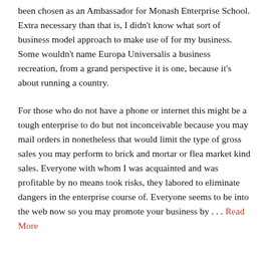been chosen as an Ambassador for Monash Enterprise School. Extra necessary than that is, I didn't know what sort of business model approach to make use of for my business. Some wouldn't name Europa Universalis a business recreation, from a grand perspective it is one, because it's about running a country.
For those who do not have a phone or internet this might be a tough enterprise to do but not inconceivable because you may mail orders in nonetheless that would limit the type of gross sales you may perform to brick and mortar or flea market kind sales. Everyone with whom I was acquainted and was profitable by no means took risks, they labored to eliminate dangers in the enterprise course of. Everyone seems to be into the web now so you may promote your business by . . . Read More